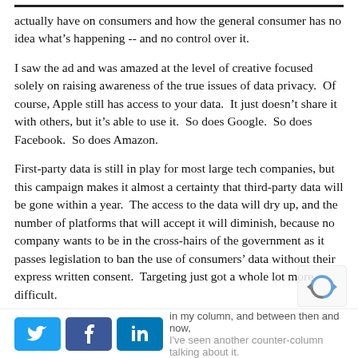actually have on consumers and how the general consumer has no idea what's happening -- and no control over it.
I saw the ad and was amazed at the level of creative focused solely on raising awareness of the true issues of data privacy.  Of course, Apple still has access to your data.  It just doesn't share it with others, but it's able to use it.  So does Google.  So does Facebook.  So does Amazon.
First-party data is still in play for most large tech companies, but this campaign makes it almost a certainty that third-party data will be gone within a year.  The access to the data will dry up, and the number of platforms that will accept it will diminish, because no company wants to be in the cross-hairs of the government as it passes legislation to ban the use of consumers' data without their express written consent.  Targeting just got a whole lot more difficult.
I saw the ad and was impressed.  I made a note to write in my column, and between then and now, I've seen another counter-column talking about it.